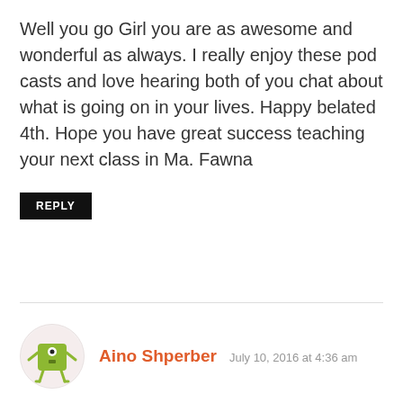Well you go Girl you are as awesome and wonderful as always. I really enjoy these pod casts and love hearing both of you chat about what is going on in your lives. Happy belated 4th. Hope you have great success teaching your next class in Ma. Fawna
REPLY
Aino Shperber  July 10, 2016 at 4:36 am
Hi there, just wanted to say I adore your show! Love the cute banter between the two of you, your insights and your work.